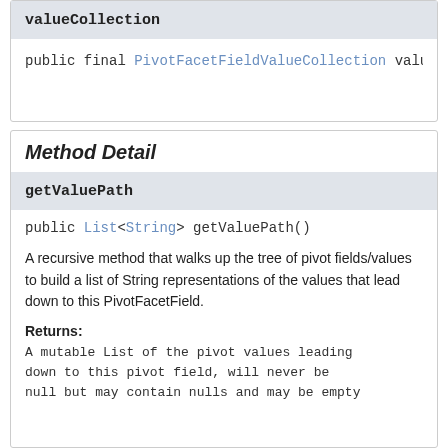valueCollection
public final PivotFacetFieldValueCollection value
Method Detail
getValuePath
public List<String> getValuePath()
A recursive method that walks up the tree of pivot fields/values to build a list of String representations of the values that lead down to this PivotFacetField.
Returns:
A mutable List of the pivot values leading down to this pivot field, will never be null but may contain nulls and may be empty